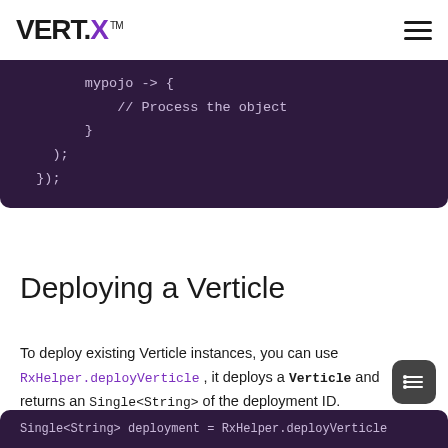VERT.X™
[Figure (screenshot): Code block showing: mypojo -> { // Process the object } );  });]
Deploying a Verticle
To deploy existing Verticle instances, you can use RxHelper.deployVerticle , it deploys a Verticle and returns an Single<String> of the deployment ID.
[Figure (screenshot): Bottom code block showing: Single<String> deployment = RxHelper.deployVerticle]